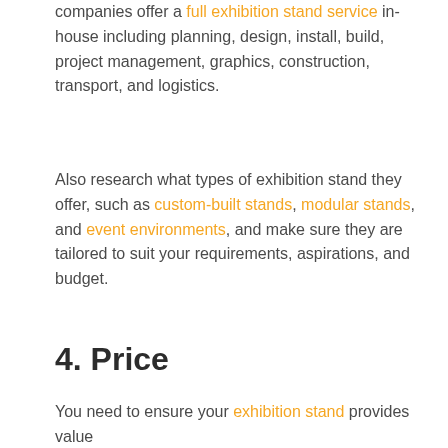companies offer a full exhibition stand service in-house including planning, design, install, build, project management, graphics, construction, transport, and logistics.
Also research what types of exhibition stand they offer, such as custom-built stands, modular stands, and event environments, and make sure they are tailored to suit your requirements, aspirations, and budget.
4. Price
You need to ensure your exhibition stand provides value